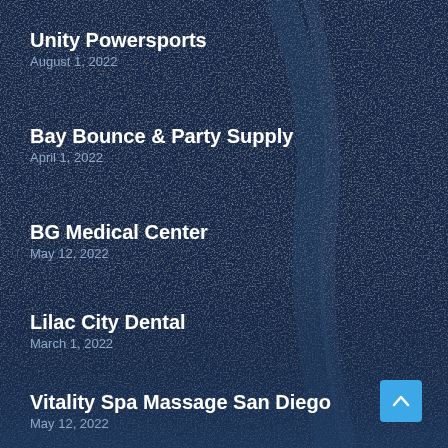Unity Powersports
August 1, 2022
Bay Bounce & Party Supply
April 1, 2022
BG Medical Center
May 12, 2022
Lilac City Dental
March 1, 2022
Vitality Spa Massage San Diego
May 12, 2022